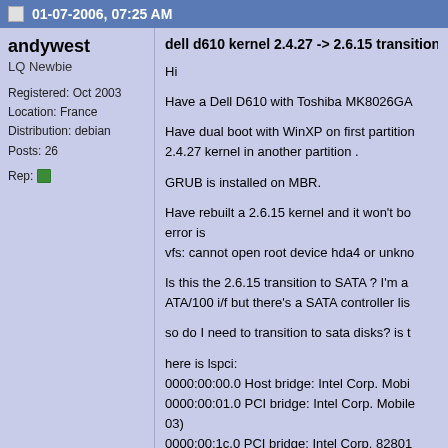01-07-2006, 07:25 AM
andywest
LQ Newbie

Registered: Oct 2003
Location: France
Distribution: debian
Posts: 26

Rep:
dell d610 kernel 2.4.27 -> 2.6.15 transition boot p

Hi

Have a Dell D610 with Toshiba MK8026GA

Have dual boot with WinXP on first partition and 2.4.27 kernel in another partition .

GRUB is installed on MBR.

Have rebuilt a 2.6.15 kernel and it won't bo error is
vfs: cannot open root device hda4 or unkno

Is this the 2.6.15 transition to SATA ? I'm a ATA/100 i/f but there's a SATA controller lis

so do I need to transition to sata disks? is t

here is lspci:
0000:00:00.0 Host bridge: Intel Corp. Mobi
0000:00:01.0 PCI bridge: Intel Corp. Mobile
03)
0000:00:1c.0 PCI bridge: Intel Corp. 82801 Port 1 (rev 03)
0000:00:1d.0 USB Controller: Intel Corp. 8 UHCI #1 (rev 03)
0000:00:1d.1 USB Controller: Intel Corp.